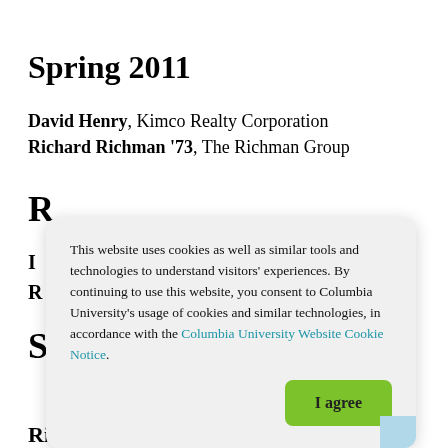Spring 2011
David Henry, Kimco Realty Corporation
Richard Richman '73, The Richman Group
This website uses cookies as well as similar tools and technologies to understand visitors' experiences. By continuing to use this website, you consent to Columbia University's usage of cookies and similar technologies, in accordance with the Columbia University Website Cookie Notice.
Ric Clark, Brookfield Properties